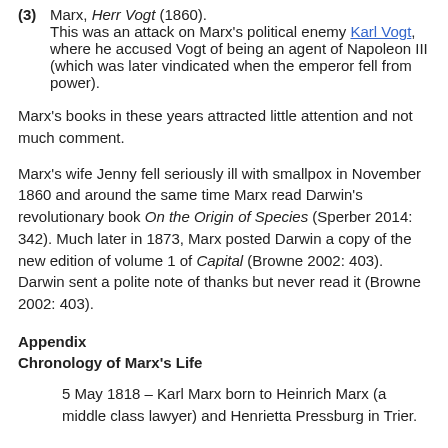(3) Marx, Herr Vogt (1860). This was an attack on Marx's political enemy Karl Vogt, where he accused Vogt of being an agent of Napoleon III (which was later vindicated when the emperor fell from power).
Marx's books in these years attracted little attention and not much comment.
Marx's wife Jenny fell seriously ill with smallpox in November 1860 and around the same time Marx read Darwin's revolutionary book On the Origin of Species (Sperber 2014: 342). Much later in 1873, Marx posted Darwin a copy of the new edition of volume 1 of Capital (Browne 2002: 403). Darwin sent a polite note of thanks but never read it (Browne 2002: 403).
Appendix
Chronology of Marx's Life
5 May 1818 – Karl Marx born to Heinrich Marx (a middle class lawyer) and Henrietta Pressburg in Trier.